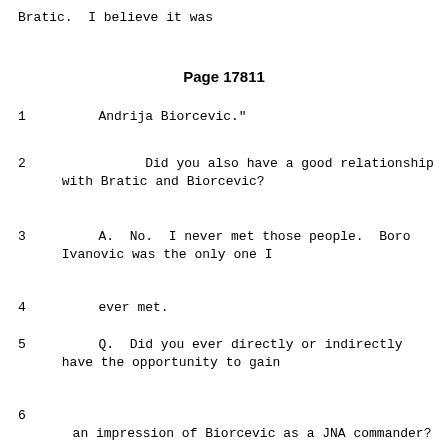Bratic.  I believe it was
Page 17811
1        Andrija Biorcevic."
2              Did you also have a good relationship with Bratic and Biorcevic?
3        A.  No.  I never met those people.  Boro Ivanovic was the only one I
4        ever met.
5        Q.  Did you ever directly or indirectly have the opportunity to gain
6        an impression of Biorcevic as a JNA commander?